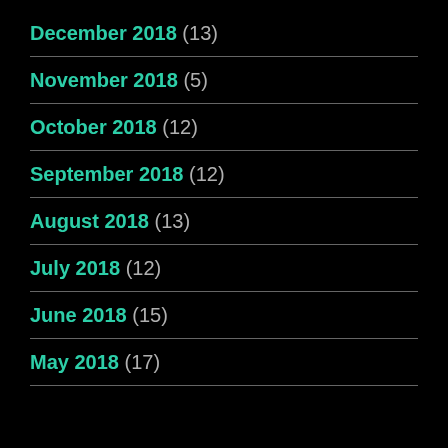December 2018 (13)
November 2018 (5)
October 2018 (12)
September 2018 (12)
August 2018 (13)
July 2018 (12)
June 2018 (15)
May 2018 (17)